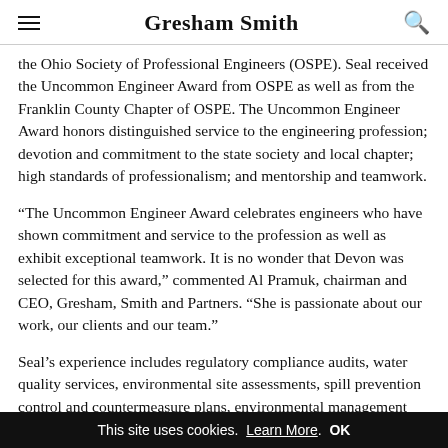Gresham Smith
the Ohio Society of Professional Engineers (OSPE). Seal received the Uncommon Engineer Award from OSPE as well as from the Franklin County Chapter of OSPE. The Uncommon Engineer Award honors distinguished service to the engineering profession; devotion and commitment to the state society and local chapter; high standards of professionalism; and mentorship and teamwork.
“The Uncommon Engineer Award celebrates engineers who have shown commitment and service to the profession as well as exhibit exceptional teamwork. It is no wonder that Devon was selected for this award,” commented Al Pramuk, chairman and CEO, Gresham, Smith and Partners. “She is passionate about our work, our clients and our team.”
Seal’s experience includes regulatory compliance audits, water quality services, environmental site assessments, spill prevention control and countermeasure plans, environmental management systems, air emissions
This site uses cookies. Learn More. OK